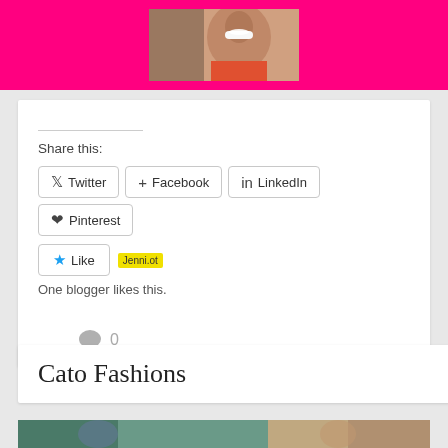[Figure (photo): Person smiling, photo cropped at top of page on a hot pink/magenta banner background]
Share this:
Twitter  Facebook  LinkedIn  Pinterest
Like  Jenni.ot
One blogger likes this.
0
Cato Fashions
[Figure (photo): Partial photo at bottom of page, partially visible]